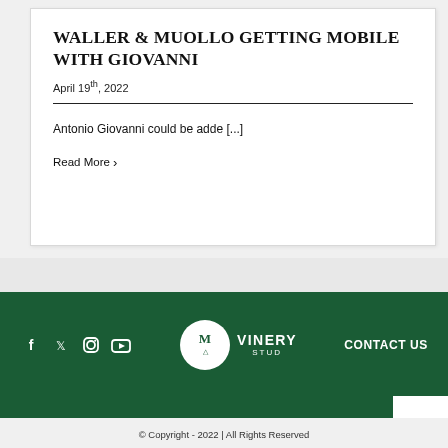WALLER & MUOLLO GETTING MOBILE WITH GIOVANNI
April 19th, 2022
Antonio Giovanni could be adde [...]
Read More >
[Figure (logo): Vinery Stud logo with social media icons (Facebook, Twitter, Instagram, YouTube) and CONTACT US text in footer]
© Copyright - 2022 | All Rights Reserved